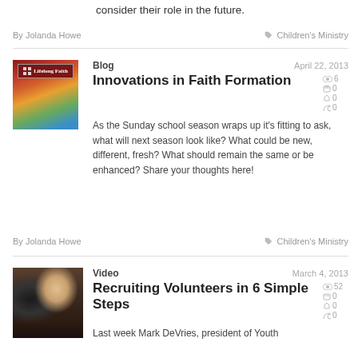consider their role in the future.
By Jolanda Howe
Children's Ministry
Blog
April 22, 2013
Innovations in Faith Formation
As the Sunday school season wraps up it's fitting to ask, what will next season look like? What could be new, different, fresh? What should remain the same or be enhanced? Share your thoughts here!
By Jolanda Howe
Children's Ministry
Video
March 4, 2013
Recruiting Volunteers in 6 Simple Steps
Last week Mark DeVries, president of Youth